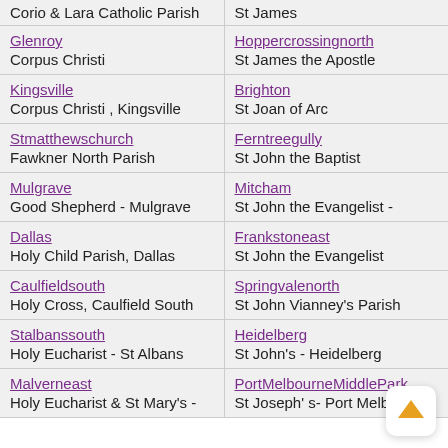| Left Parish | Right Parish |
| --- | --- |
| Corio & Lara Catholic Parish | St James |
| Glenroy
Corpus Christi | Hoppercrossingnorth
St James the Apostle |
| Kingsville
Corpus Christi , Kingsville | Brighton
St Joan of Arc |
| Stmatthewschurch
Fawkner North Parish | Ferntreegully
St John the Baptist |
| Mulgrave
Good Shepherd - Mulgrave | Mitcham
St John the Evangelist - |
| Dallas
Holy Child Parish, Dallas | Frankstoneast
St John the Evangelist |
| Caulfieldsouth
Holy Cross, Caulfield South | Springvalenorth
St John Vianney's Parish |
| Stalbanssouth
Holy Eucharist - St Albans | Heidelberg
St John's - Heidelberg |
| Malverneast
Holy Eucharist & St Mary's - | PortMelbourneMiddlePark
St Joseph' s- Port Melbourne |